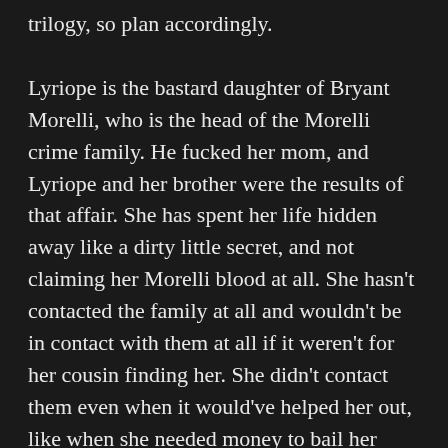trilogy, so plan accordingly.
Lyriope is the bastard daughter of Bryant Morelli, who is the head of the Morelli crime family. He fucked her mom, and Lyriope and her brother were the results of that affair. She has spent her life hidden away like a dirty little secret, and not claiming her Morelli blood at all. She hasn't contacted the family at all and wouldn't be in contact with them at all if it weren't for her cousin finding her. She didn't contact them even when it would've helped her out, like when she needed money to bail her mom and stepdad out of trouble, again. Instead, she went to a Russian mob family and borrowed from them. She doesn't have the